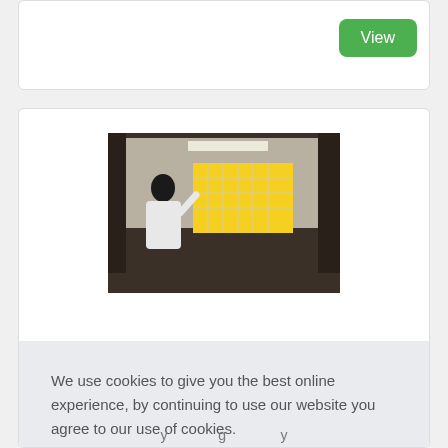[Figure (screenshot): White card with a green 'View' button in the upper right corner]
[Figure (photo): Person pointing at a yellow board/schedule posted on a wall in what appears to be an office or school corridor]
We use cookies to give you the best online experience, by continuing to use our website you agree to our use of cookies.
Cookie Policy
Got it!
Allow cookies